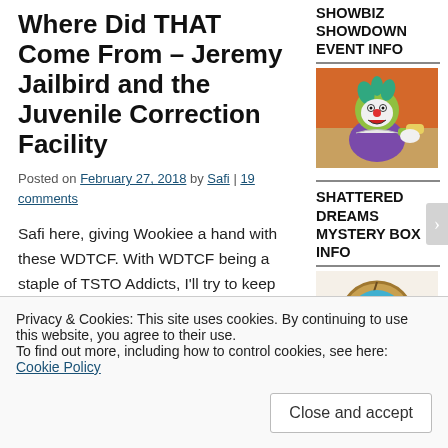Where Did THAT Come From – Jeremy Jailbird and the Juvenile Correction Facility
Posted on February 27, 2018 by Safi | 19 comments
Safi here, giving Wookiee a hand with these WDTCF. With WDTCF being a staple of TSTO Addicts, I'll try to keep as true to the format as possible (by which I mean I'll copy and paste one of Wookiee's posts
SHOWBIZ SHOWDOWN EVENT INFO
[Figure (illustration): Cartoon clown character (Krusty the Clown style) in purple outfit with green hair, shouting and gesturing]
SHATTERED DREAMS MYSTERY BOX INFO
[Figure (illustration): Circular cookie/token with moon and stars design on blue background]
Privacy & Cookies: This site uses cookies. By continuing to use this website, you agree to their use. To find out more, including how to control cookies, see here: Cookie Policy
Close and accept